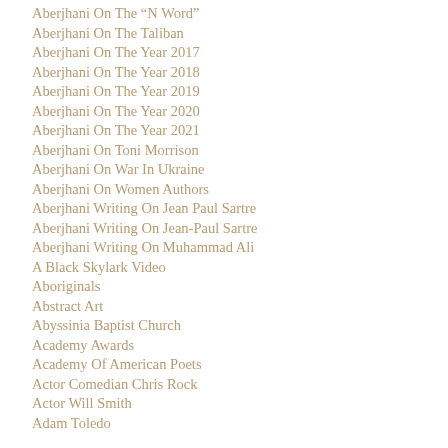Aberjhani On The "N Word"
Aberjhani On The Taliban
Aberjhani On The Year 2017
Aberjhani On The Year 2018
Aberjhani On The Year 2019
Aberjhani On The Year 2020
Aberjhani On The Year 2021
Aberjhani On Toni Morrison
Aberjhani On War In Ukraine
Aberjhani On Women Authors
Aberjhani Writing On Jean Paul Sartre
Aberjhani Writing On Jean-Paul Sartre
Aberjhani Writing On Muhammad Ali
A Black Skylark Video
Aboriginals
Abstract Art
Abyssinia Baptist Church
Academy Awards
Academy Of American Poets
Actor Comedian Chris Rock
Actor Will Smith
Adam Toledo